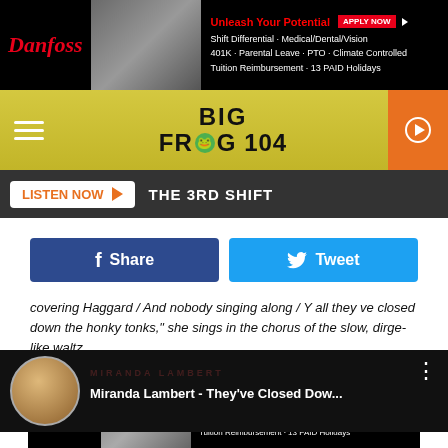[Figure (screenshot): Danfoss advertisement banner — Unleash Your Potential with Apply Now button, listing Shift Differential, Medical/Dental/Vision, 401K, Parental Leave, PTO, Climate Controlled, Tuition Reimbursement, 13 PAID Holidays]
[Figure (screenshot): Big Frog 104 radio station logo on yellow-green gradient navigation bar with hamburger menu and orange play button]
[Figure (screenshot): Listen Now button with orange arrow and THE 3RD SHIFT text on dark gray bar]
[Figure (screenshot): Facebook Share button (dark blue) and Twitter Tweet button (light blue)]
covering Haggard / And nobody singing along / Y all they ve closed down the honky tonks," she sings in the chorus of the slow, dirge-like waltz.
[Figure (screenshot): YouTube video thumbnail for Miranda Lambert - They've Closed Dow... with circular profile image and three-dot menu]
[Figure (screenshot): Danfoss advertisement banner at bottom — Unleash Your Potential with Apply Now button, listing Shift Differential, Medical/Dental/Vision, 401K, Parental Leave, PTO, Climate Controlled, Tuition Reimbursement, 13 PAID Holidays]